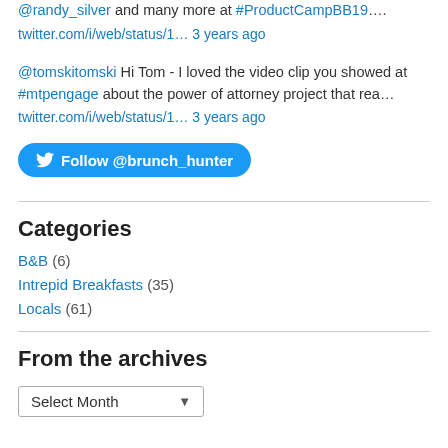@randy_silver and many more at #ProductCampBB19…. twitter.com/i/web/status/1… 3 years ago
@tomskitomski Hi Tom - I loved the video clip you showed at #mtpengage about the power of attorney project that rea… twitter.com/i/web/status/1… 3 years ago
Follow @brunch_hunter
Categories
B&B (6)
Intrepid Breakfasts (35)
Locals (61)
From the archives
Select Month